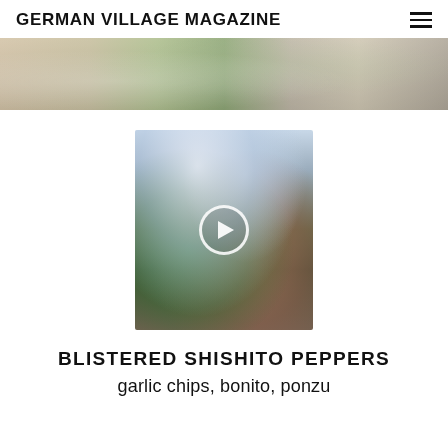GERMAN VILLAGE MAGAZINE
[Figure (photo): Top banner photo of restaurant table setting with plates, glasses of wine and water, and food items.]
[Figure (photo): Video thumbnail showing a bowl of blistered shishito peppers with garlic chips and bonito, photographed on a restaurant table with glasses in the background. A white circular play button is overlaid in the center.]
BLISTERED SHISHITO PEPPERS
garlic chips, bonito, ponzu